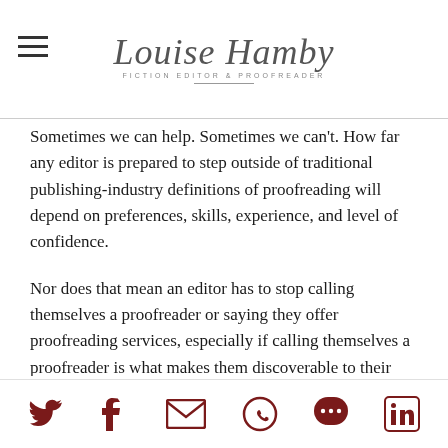Louise Hamby – Fiction Editor & Proofreader
Sometimes we can help. Sometimes we can't. How far any editor is prepared to step outside of traditional publishing-industry definitions of proofreading will depend on preferences, skills, experience, and level of confidence.
Nor does that mean an editor has to stop calling themselves a proofreader or saying they offer proofreading services, especially if calling themselves a proofreader is what makes them discoverable to their clients.
Providing clear service definitions
Here's one way to ensure there's a shared understanding of the term proofreading: clarify your
Social share icons: Twitter, Facebook, Email, WhatsApp, SMS, LinkedIn